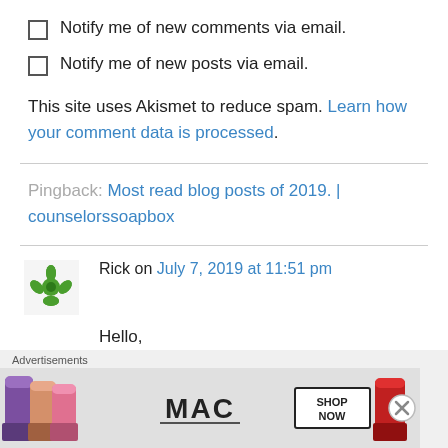Notify me of new comments via email.
Notify me of new posts via email.
This site uses Akismet to reduce spam. Learn how your comment data is processed.
Pingback: Most read blog posts of 2019. | counselorssoapbox
Rick on July 7, 2019 at 11:51 pm
Hello,
Advertisements